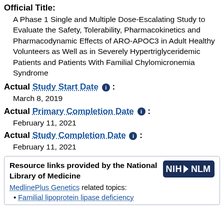Official Title:
A Phase 1 Single and Multiple Dose-Escalating Study to Evaluate the Safety, Tolerability, Pharmacokinetics and Pharmacodynamic Effects of ARO-APOC3 in Adult Healthy Volunteers as Well as in Severely Hypertriglyceridemic Patients and Patients With Familial Chylomicronemia Syndrome
Actual Study Start Date ℹ :
March 8, 2019
Actual Primary Completion Date ℹ :
February 11, 2021
Actual Study Completion Date ℹ :
February 11, 2021
Resource links provided by the National Library of Medicine
MedlinePlus Genetics related topics:
Familial lipoprotein lipase deficiency